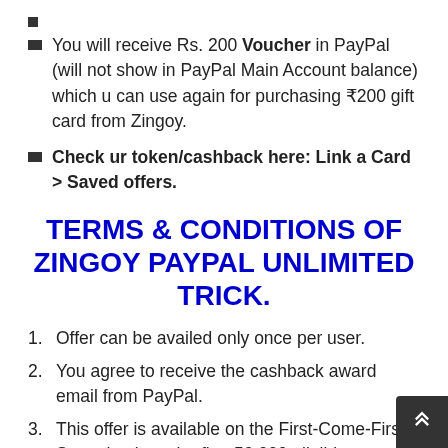•
You will receive Rs. 200 Voucher in PayPal (will not show in PayPal Main Account balance) which u can use again for purchasing ₹200 gift card from Zingoy.
Check ur token/cashback here: Link a Card > Saved offers.
TERMS & CONDITIONS OF ZINGOY PAYPAL UNLIMITED TRICK.
1. Offer can be availed only once per user.
2. You agree to receive the cashback award email from PayPal.
3. This offer is available on the First-Come-First-Serve basis to the first 50,000 eligible